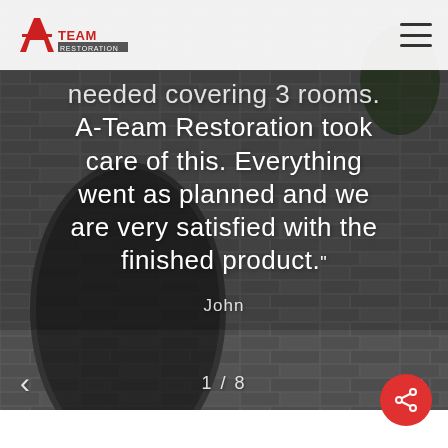[Figure (logo): A-Team Restoration logo in red and gray]
needed covering 3 rooms. A-Team Restoration took care of this. Everything went as planned and we are very satisfied with the finished product.”
John
1 / 8